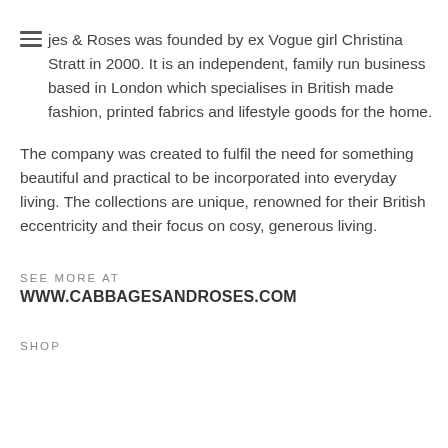jes & Roses was founded by ex Vogue girl Christina Stratt in 2000. It is an independent, family run business based in London which specialises in British made fashion, printed fabrics and lifestyle goods for the home.
The company was created to fulfil the need for something beautiful and practical to be incorporated into everyday living. The collections are unique, renowned for their British eccentricity and their focus on cosy, generous living.
SEE MORE AT
WWW.CABBAGESANDROSES.COM
SHOP